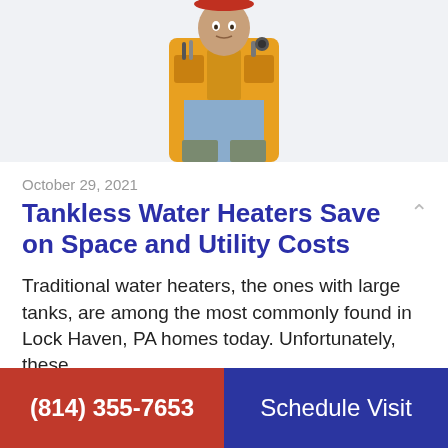[Figure (photo): Technician in yellow vest with tools, cropped to torso]
October 29, 2021
Tankless Water Heaters Save on Space and Utility Costs
Traditional water heaters, the ones with large tanks, are among the most commonly found in Lock Haven, PA homes today. Unfortunately, these… …
Read More…
(814) 355-7653   Schedule Visit